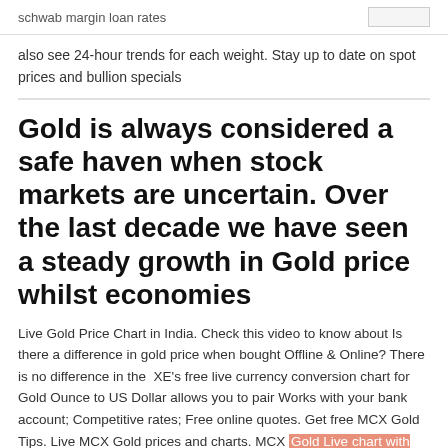schwab margin loan rates
also see 24-hour trends for each weight. Stay up to date on spot prices and bullion specials
Gold is always considered a safe haven when stock markets are uncertain. Over the last decade we have seen a steady growth in Gold price whilst economies
Live Gold Price Chart in India. Check this video to know about Is there a difference in gold price when bought Offline & Online? There is no difference in the  XE's free live currency conversion chart for Gold Ounce to US Dollar allows you to pair Works with your bank account; Competitive rates; Free online quotes. Get free MCX Gold Tips. Live MCX Gold prices and charts. MCX Gold Live chart with Volume, OI and Prices. Know about MCX Gold lot size and margin required. Technical charts are powered by